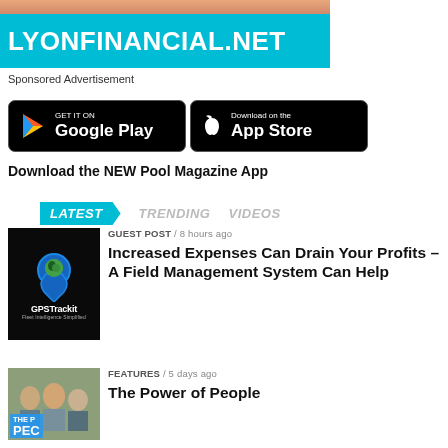[Figure (photo): Partial image at top, orange/skin tone, above LYONFINANCIAL.NET banner]
[Figure (logo): LYONFINANCIAL.NET logo on cyan/turquoise background banner]
Sponsored Advertisement
[Figure (illustration): Google Play and App Store download buttons]
Download the NEW Pool Magazine App
LATEST   TRENDING   VIDEOS
[Figure (photo): GPS Trackit logo thumbnail - dark background with globe pin icon]
GUEST POST / 8 hours ago
Increased Expenses Can Drain Your Profits – A Field Management System Can Help
[Figure (photo): The Power of People article thumbnail - group of people]
FEATURES / 5 days ago
The Power of People